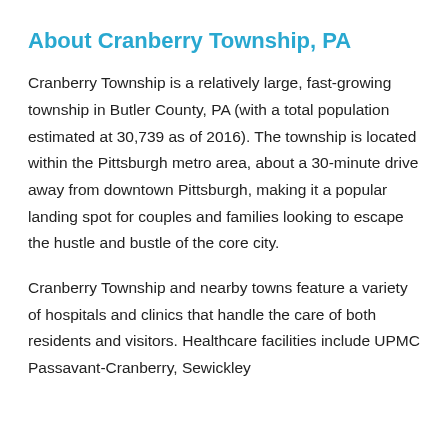About Cranberry Township, PA
Cranberry Township is a relatively large, fast-growing township in Butler County, PA (with a total population estimated at 30,739 as of 2016). The township is located within the Pittsburgh metro area, about a 30-minute drive away from downtown Pittsburgh, making it a popular landing spot for couples and families looking to escape the hustle and bustle of the core city.
Cranberry Township and nearby towns feature a variety of hospitals and clinics that handle the care of both residents and visitors. Healthcare facilities include UPMC Passavant-Cranberry, Sewickley